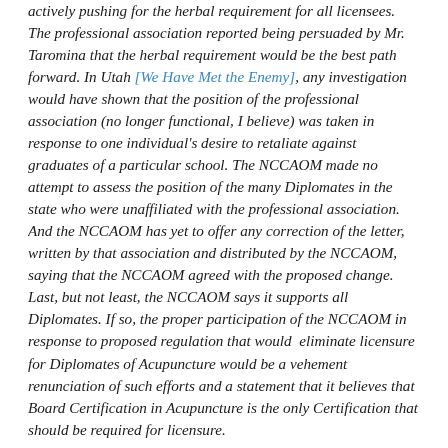actively pushing for the herbal requirement for all licensees. The professional association reported being persuaded by Mr. Taromina that the herbal requirement would be the best path forward. In Utah [We Have Met the Enemy], any investigation would have shown that the position of the professional association (no longer functional, I believe) was taken in response to one individual's desire to retaliate against graduates of a particular school. The NCCAOM made no attempt to assess the position of the many Diplomates in the state who were unaffiliated with the professional association. And the NCCAOM has yet to offer any correction of the letter, written by that association and distributed by the NCCAOM, saying that the NCCAOM agreed with the proposed change. Last, but not least, the NCCAOM says it supports all Diplomates. If so, the proper participation of the NCCAOM in response to proposed regulation that would eliminate licensure for Diplomates of Acupuncture would be a vehement renunciation of such efforts and a statement that it believes that Board Certification in Acupuncture is the only Certification that should be required for licensure.